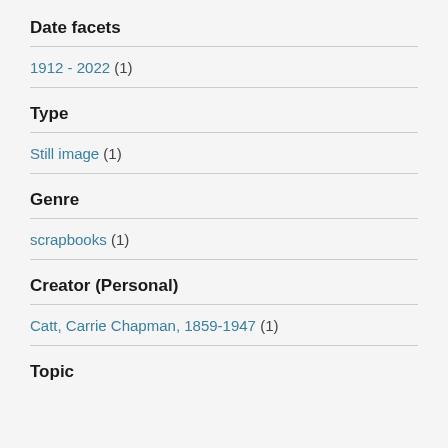Date facets
1912 - 2022 (1)
Type
Still image (1)
Genre
scrapbooks (1)
Creator (Personal)
Catt, Carrie Chapman, 1859-1947 (1)
Topic